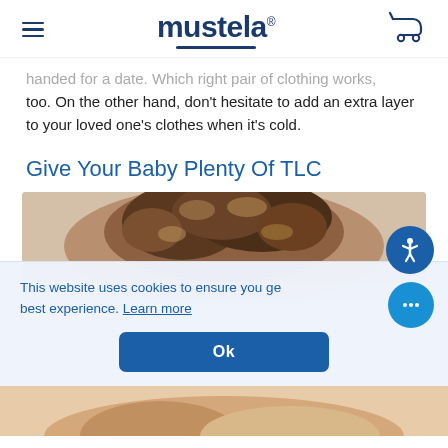Mustela
handed for a date. Which right pair of clothing works, too. On the other hand, don't hesitate to add an extra layer to your loved one's clothes when it's cold.
Give Your Baby Plenty Of TLC
[Figure (photo): Top of a baby's head with curly brown hair against a light background]
This website uses cookies to ensure you get the best experience. Learn more
[Figure (photo): Bottom portion of page showing partial image of baby/parent]